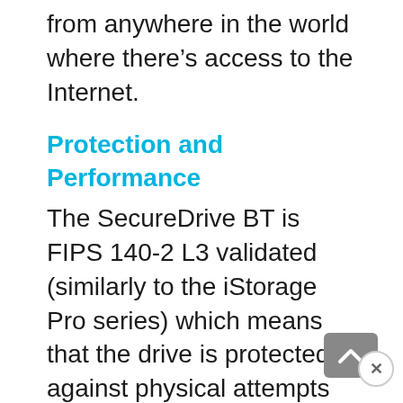from anywhere in the world where there's access to the Internet.
Protection and Performance
The SecureDrive BT is FIPS 140-2 L3 validated (similarly to the iStorage Pro series) which means that the drive is protected against physical attempts at gaining access to the cryptographic module (the tamper proof enclosure and the epoxy coating), so it's not possible to detach the internal components off the drive (not in a way that will allow you to access the data). Furthermore, the SecureDrive BT is compliant with GDPR
and HIPPA, and it does offer Military Grade AES256 bit XTS encryption, which is a